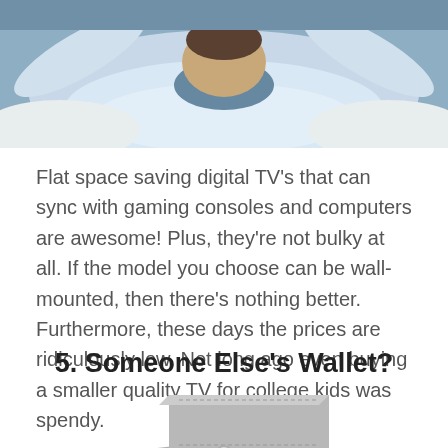[Figure (photo): Photo of a person lying back relaxed with arms behind head, cropped at top of page]
Flat space saving digital TV’s that can sync with gaming consoles and computers are awesome! Plus, they’re not bulky at all. If the model you choose can be wall-mounted, then there’s nothing better. Furthermore, these days the prices are ridiculously low. Not long ago even buying a smaller quality TV for college kids was spendy.
5. Someone Else’s Wallet?
[Figure (photo): Photo of a grey wallet, partially visible at bottom of page]